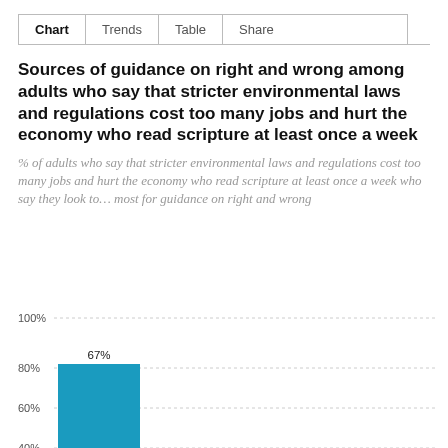Chart   Trends   Table   Share
Sources of guidance on right and wrong among adults who say that stricter environmental laws and regulations cost too many jobs and hurt the economy who read scripture at least once a week
% of adults who say that stricter environmental laws and regulations cost too many jobs and hurt the economy who read scripture at least once a week who say they look to… most for guidance on right and wrong
[Figure (bar-chart): Sources of guidance on right and wrong]